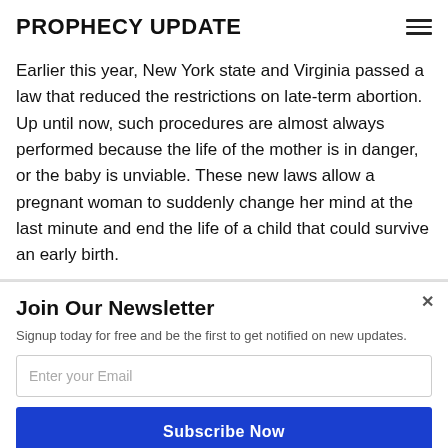PROPHECY UPDATE
Earlier this year, New York state and Virginia passed a law that reduced the restrictions on late-term abortion. Up until now, such procedures are almost always performed because the life of the mother is in danger, or the baby is unviable. These new laws allow a pregnant woman to suddenly change her mind at the last minute and end the life of a child that could survive an early birth.
Join Our Newsletter
Signup today for free and be the first to get notified on new updates.
Enter your Email
Subscribe Now